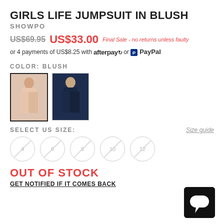GIRLS LIFE JUMPSUIT IN BLUSH
SHOWPO
US$69.95  US$33.00  Final Sale - no returns unless faulty
or 4 payments of US$8.25 with afterpay or PayPal
COLOR: BLUSH
[Figure (photo): Two product photos: blush/pink jumpsuit on left (selected, with border), navy blue jumpsuit on right]
SELECT US SIZE:
Size guide
4  6  8  10  12 (all crossed out, out of stock)
OUT OF STOCK
GET NOTIFIED IF IT COMES BACK
[Figure (logo): Black square chat/support icon in bottom right corner]